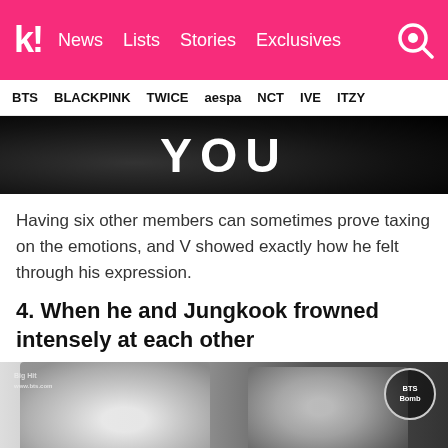k! News Lists Stories Exclusives
BTS BLACKPINK TWICE aespa NCT IVE ITZY
[Figure (photo): Black and white image with large white bold text reading YOU]
Having six other members can sometimes prove taxing on the emotions, and V showed exactly how he felt through his expression.
4. When he and Jungkook frowned intensely at each other
[Figure (photo): Black and white photo of two BTS members (V with light hair on left, Jungkook on right) apparently frowning at each other, with BTS Bomb watermark logo in top right corner]